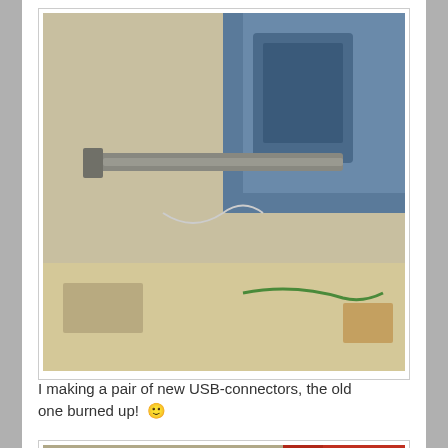[Figure (photo): Close-up photo of hands using pliers or tools on a cable or wire connector, with blue metallic background]
I making a pair of new USB-connectors, the old one burned up! 🙂
[Figure (photo): Hands using a drill or pressing tool on a small metal connector piece clamped in a metal vise, with red equipment in background]
[Figure (photo): Partial view of a tool or connector assembly, bottom of page]